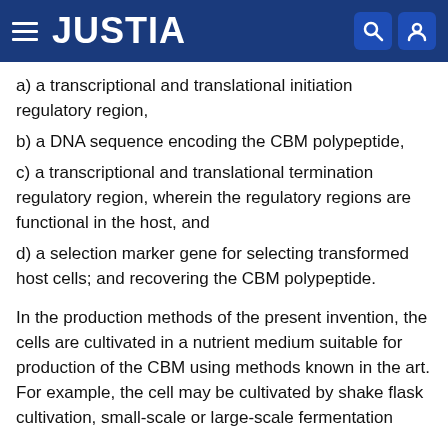JUSTIA
a) a transcriptional and translational initiation regulatory region,
b) a DNA sequence encoding the CBM polypeptide,
c) a transcriptional and translational termination regulatory region, wherein the regulatory regions are functional in the host, and
d) a selection marker gene for selecting transformed host cells; and recovering the CBM polypeptide.
In the production methods of the present invention, the cells are cultivated in a nutrient medium suitable for production of the CBM using methods known in the art. For example, the cell may be cultivated by shake flask cultivation, small-scale or large-scale fermentation